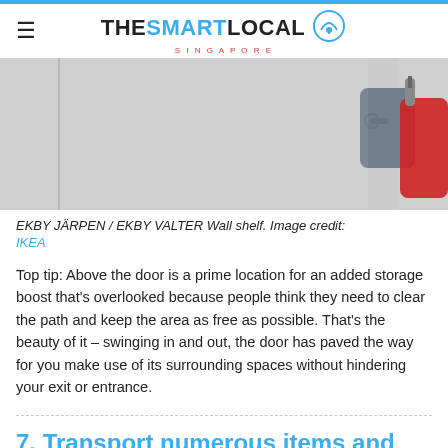THE SMART LOCAL SINGAPORE
[Figure (photo): Photo of a white door with clothing items (grey and red jackets) hanging on hooks, showing wall space above the door.]
EKBY JÄRPEN / EKBY VALTER Wall shelf. Image credit: IKEA
Top tip: Above the door is a prime location for an added storage boost that's overlooked because people think they need to clear the path and keep the area as free as possible. That's the beauty of it – swinging in and out, the door has paved the way for you make use of its surrounding spaces without hindering your exit or entrance.
7. Transport numerous items and keep them nearby with movable